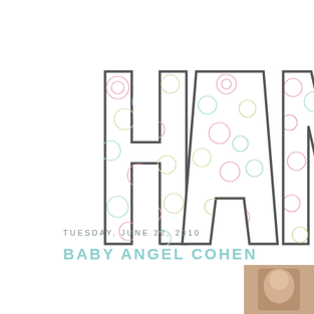[Figure (illustration): Large decorative letters 'HAN' (partial, cropped at right edge) with floral/rose pattern fill and dark outline, shown partially from left side of page]
TUESDAY, JUNE 22, 2010
BABY ANGEL COHEN
[Figure (photo): Small thumbnail photo of a baby, partially visible at bottom right corner]